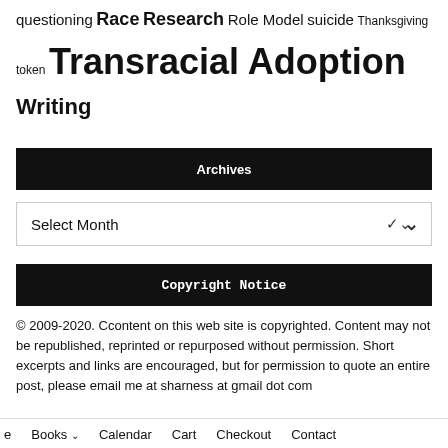questioning Race Research Role Model suicide Thanksgiving token Transracial Adoption Writing
Archives
Select Month
Copyright Notice
© 2009-2020. Ccontent on this web site is copyrighted. Content may not be republished, reprinted or repurposed without permission. Short excerpts and links are encouraged, but for permission to quote an entire post, please email me at sharness at gmail dot com
Books  Calendar  Cart  Checkout  Contact